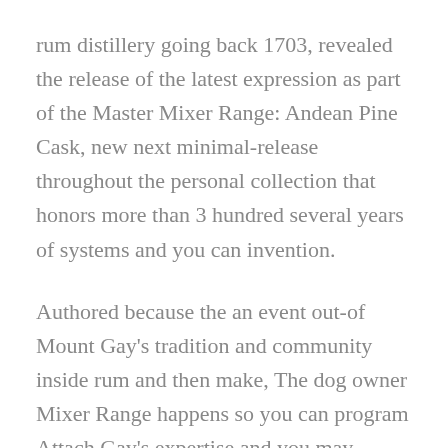rum distillery going back 1703, revealed the release of the latest expression as part of the Master Mixer Range: Andean Pine Cask, new next minimal-release throughout the personal collection that honors more than 3 hundred several years of systems and you can invention.
Authored because the an event out-of Mount Gay's tradition and community inside rum and then make, The dog owner Mixer Range happens so you can program Attach Gay's expertise and you may passion for creativity. The brand new yearly restricted-edition series premiered within the 2018 with the discharge of XO: New Peat Smoking Expression, produced by previous Learn Mixer Allen